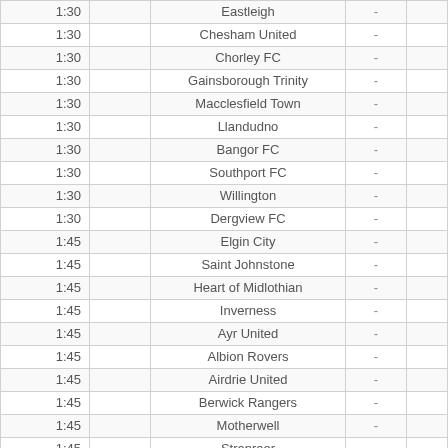| Time |  | Team | Score |  |
| --- | --- | --- | --- | --- |
| 1:30 |  | Eastleigh | - |  |
| 1:30 |  | Chesham United | - |  |
| 1:30 |  | Chorley FC | - |  |
| 1:30 |  | Gainsborough Trinity | - |  |
| 1:30 |  | Macclesfield Town | - |  |
| 1:30 |  | Llandudno | - |  |
| 1:30 |  | Bangor FC | - |  |
| 1:30 |  | Southport FC | - |  |
| 1:30 |  | Willington | - |  |
| 1:30 |  | Dergview FC | - |  |
| 1:45 |  | Elgin City | - |  |
| 1:45 |  | Saint Johnstone | - |  |
| 1:45 |  | Heart of Midlothian | - |  |
| 1:45 |  | Inverness | - |  |
| 1:45 |  | Ayr United | - |  |
| 1:45 |  | Albion Rovers | - |  |
| 1:45 |  | Airdrie United | - |  |
| 1:45 |  | Berwick Rangers | - |  |
| 1:45 |  | Motherwell | - |  |
| 1:45 |  | Stranraer | - |  |